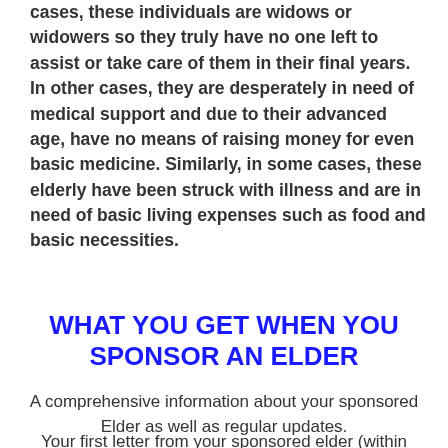cases, these individuals are widows or widowers so they truly have no one left to assist or take care of them in their final years. In other cases, they are desperately in need of medical support and due to their advanced age, have no means of raising money for even basic medicine. Similarly, in some cases, these elderly have been struck with illness and are in need of basic living expenses such as food and basic necessities.
WHAT YOU GET WHEN YOU SPONSOR AN ELDER
A comprehensive information about your sponsored Elder as well as regular updates.
Your first letter from your sponsored elder (within about